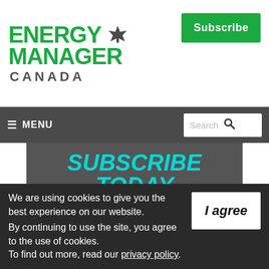[Figure (logo): Energy Manager Canada logo with green text and maple leaf icon]
Subscribe
≡ MENU   Search 🔍
SUBSCRIBE TODAY
Subscribe to our Energy Manager Canada eNewsletter or Magazine today!
SUBSCRIBE
We are using cookies to give you the best experience on our website.
By continuing to use the site, you agree to the use of cookies.
To find out more, read our privacy policy.